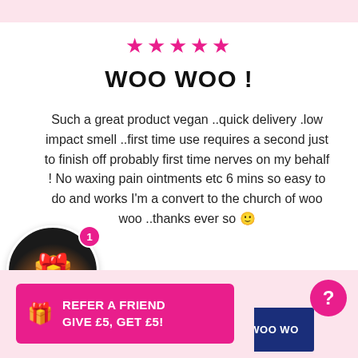[Figure (illustration): Five pink stars rating]
WOO WOO !
Such a great product vegan ..quick delivery .low impact smell ..first time use requires a second just to finish off probably first time nerves on my behalf ! No waxing pain ointments etc 6 mins so easy to do and works I'm a convert to the church of woo woo ..thanks ever so 🙂
Nilla
[Figure (illustration): Gift badge icon with notification badge showing number 1]
[Figure (illustration): Pink refer a friend banner: REFER A FRIEND GIVE £5, GET £5! with gift icon]
[Figure (illustration): WOO WOO product packaging partially visible with pink question mark circle]